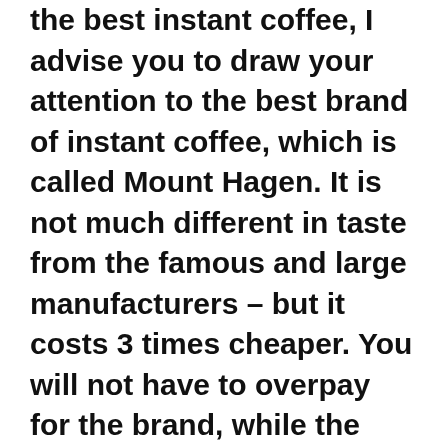the best instant coffee, I advise you to draw your attention to the best brand of instant coffee, which is called Mount Hagen. It is not much different in taste from the famous and large manufacturers – but it costs 3 times cheaper. You will not have to overpay for the brand, while the coffee is quite tasty and strong.
This type of drink is made in such a way that you can successfully dissolve it even in cold water. Special cooking technology gives you great advantages